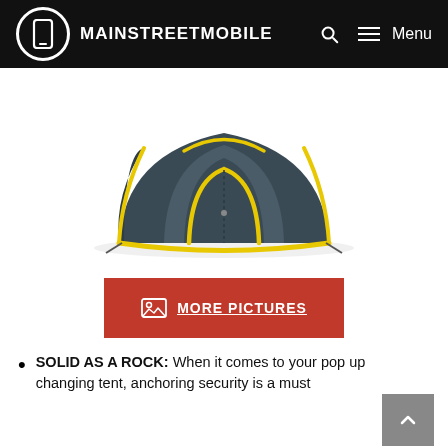MAINSTREETMOBILE
[Figure (photo): Dark navy/charcoal pop-up changing tent with yellow trim, shown from front angle with door panel visible, on white background.]
MORE PICTURES
SOLID AS A ROCK: When it comes to your pop up changing tent, anchoring security is a must
The 4 included sand bags weigh your tent down even in harsh terrain.
QUICK, POP UP PRIVACY: Going into nature